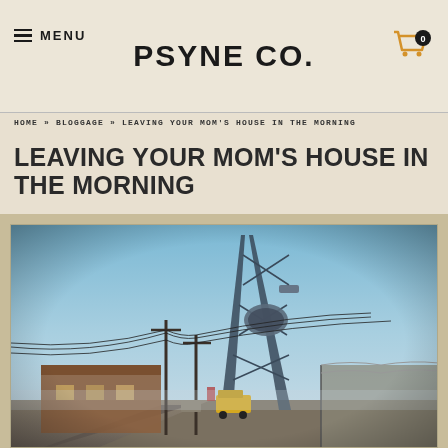MENU | PSYNE CO. | [cart icon] 0
HOME » BLOGGAGE » LEAVING YOUR MOM'S HOUSE IN THE MORNING
LEAVING YOUR MOM'S HOUSE IN THE MORNING
[Figure (photo): Street-level photo taken from inside a vehicle showing a cell tower, utility poles with power lines, a low industrial brick building on the left, a chain-link fence with barbed wire on the right, and a yellow bus/truck in the middle distance. Sky is blue-grey. Industrial/suburban scene.]